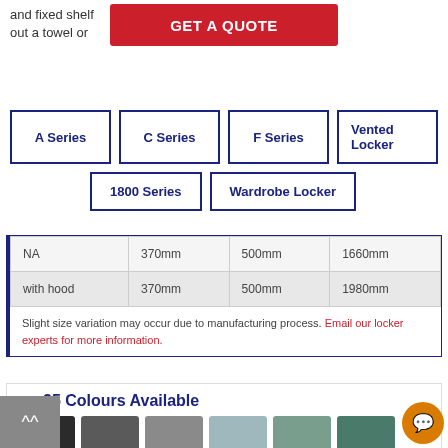and fixed shelf for drying out a towel or
A Series
C Series
F Series
Vented Locker
1800 Series
Wardrobe Locker
| NA | 370mm | 500mm | 1660mm |
| with hood | 370mm | 500mm | 1980mm |
Slight size variation may occur due to manufacturing process. Email our locker experts for more information.
— 25 Colours Available
[Figure (illustration): Six colour swatches showing available locker colours: dark charcoal/black, dark grey, medium grey, light steel blue, sage green, dark teal/green]